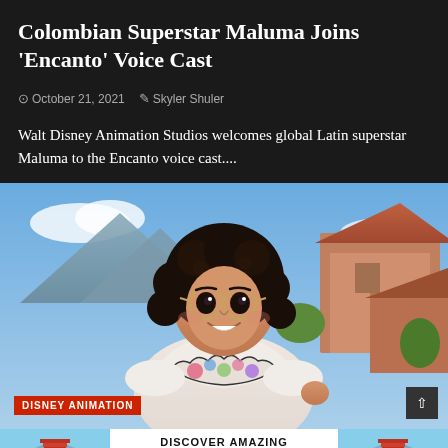Colombian Superstar Maluma Joins 'Encanto' Voice Cast
October 21, 2021  Skyler Shuler
Walt Disney Animation Studios welcomes global Latin superstar Maluma to the Encanto voice cast....
[Figure (photo): Animated character Mirabel from Encanto, a young girl with curly dark hair and round glasses, wearing a colorful embroidered dress, standing in front of a colorful Colombian townscape with mountains in the background. A red 'DISNEY ANIMATION' badge appears in the lower left corner.]
[Figure (infographic): Japan travel advertisement banner showing 'DISCOVER AMAZING TRAVEL SIDESTAGE.COM' text in the center, with Japan pagoda imagery on both sides.]